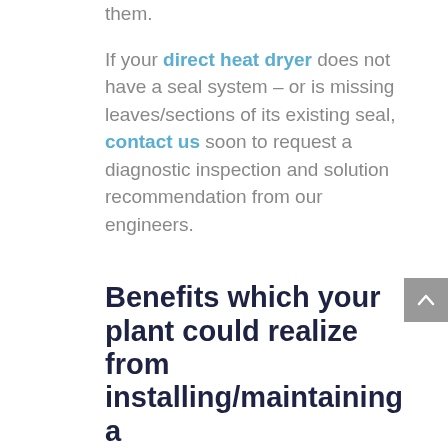them. If your direct heat dryer does not have a seal system – or is missing leaves/sections of its existing seal, contact us soon to request a diagnostic inspection and solution recommendation from our engineers.
Benefits which your plant could realize from installing/maintaining a